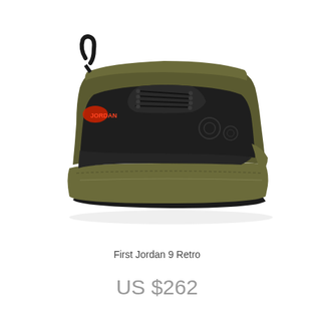[Figure (photo): Baby Jordan 9 Retro sneaker in black leather upper with olive/khaki midsole and sole, black laces, red Jordan branding on heel, viewed from the side on white background]
First Jordan 9 Retro
US $262